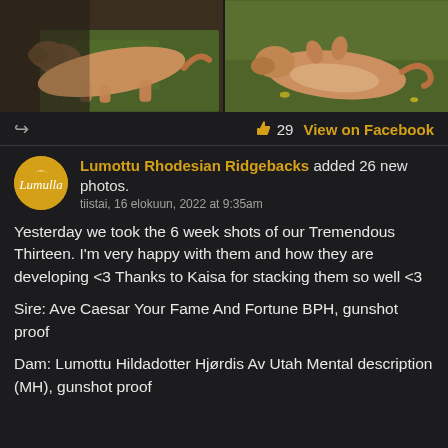[Figure (photo): Two photos of Rhodesian Ridgeback puppies lying on ground/grass, side by side]
↪  👍 29  View on Facebook
Lumottu Rhodesian Ridgebacks added 26 new photos.
tiistai, 16 elokuun, 2022 at 9:35am
Yesterday we took the 6 week shots of our Tremendous Thirteen. I'm very happy with them and how they are developing <3 Thanks to Kaisa for stacking them so well <3

Sire: Ave Caesar Your Fame And Fortune BPH, gunshot proof

Dam: Lumottu Hildadotter Hjørdis Av Utah Mental description (MH), gunshot proof